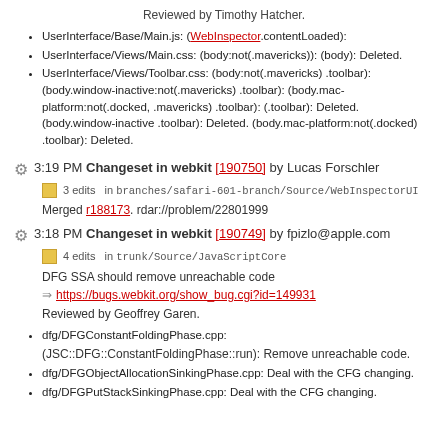Reviewed by Timothy Hatcher.
UserInterface/Base/Main.js: (WebInspector.contentLoaded):
UserInterface/Views/Main.css: (body:not(.mavericks)): (body): Deleted.
UserInterface/Views/Toolbar.css: (body:not(.mavericks) .toolbar): (body.window-inactive:not(.mavericks) .toolbar): (body.mac-platform:not(.docked, .mavericks) .toolbar): (.toolbar): Deleted. (body.window-inactive .toolbar): Deleted. (body.mac-platform:not(.docked) .toolbar): Deleted.
3:19 PM Changeset in webkit [190750] by Lucas Forschler
3 edits in branches/safari-601-branch/Source/WebInspectorUI
Merged r188173. rdar://problem/22801999
3:18 PM Changeset in webkit [190749] by fpizlo@apple.com
4 edits in trunk/Source/JavaScriptCore
DFG SSA should remove unreachable code
https://bugs.webkit.org/show_bug.cgi?id=149931
Reviewed by Geoffrey Garen.
dfg/DFGConstantFoldingPhase.cpp:
(JSC::DFG::ConstantFoldingPhase::run): Remove unreachable code.
dfg/DFGObjectAllocationSinkingPhase.cpp: Deal with the CFG changing.
dfg/DFGPutStackSinkingPhase.cpp: Deal with the CFG changing.